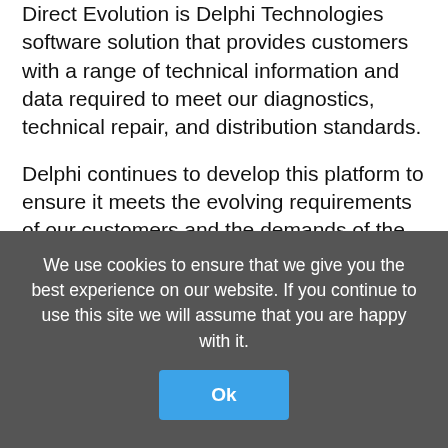Direct Evolution is Delphi Technologies software solution that provides customers with a range of technical information and data required to meet our diagnostics, technical repair, and distribution standards.
Delphi continues to develop this platform to ensure it meets the evolving requirements of our customers and the demands of the market, providing regular updates for all parts, application data, Diagnostic & Repair instructions, and tooling.
Direct Evolution is offered to official distributors and
We use cookies to ensure that we give you the best experience on our website. If you continue to use this site we will assume that you are happy with it.